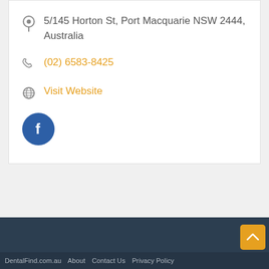5/145 Horton St, Port Macquarie NSW 2444, Australia
(02) 6583-8425
Visit Website
[Figure (logo): Facebook circle button icon, dark blue background with white 'f' logo]
DentalFind.com.au   About   Contact Us   Privacy Policy